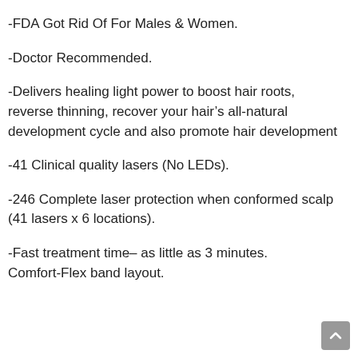-FDA Got Rid Of For Males & Women.
-Doctor Recommended.
-Delivers healing light power to boost hair roots, reverse thinning, recover your hair’s all-natural development cycle and also promote hair development
-41 Clinical quality lasers (No LEDs).
-246 Complete laser protection when conformed scalp (41 lasers x 6 locations).
-Fast treatment time– as little as 3 minutes.
Comfort-Flex band layout.